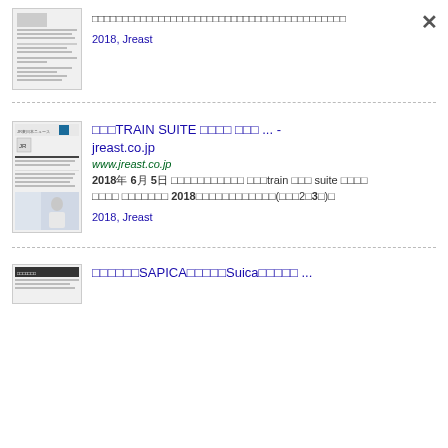[Figure (screenshot): Thumbnail of a Japanese document page]
□□□□□□□□□□□□□□□□□□□□□□□□□□□□□□□□□□□□□□□□□□
2018, Jreast
[Figure (screenshot): Thumbnail of JR East (JR東日本ニュース) document with logo and photo]
□□□TRAIN SUITE □□□□ □□□ ... - jreast.co.jp
www.jreast.co.jp
2018年 6月 5日 □□□□□□□□□□□ □□□train □□□ suite □□□□ □□□□ □□□□□□□ 2018□□□□□□□□□□□□(□□□2□3□)□
2018, Jreast
[Figure (screenshot): Thumbnail of another Japanese document]
□□□□□□SAPICA□□□□□Suica□□□□□ ...